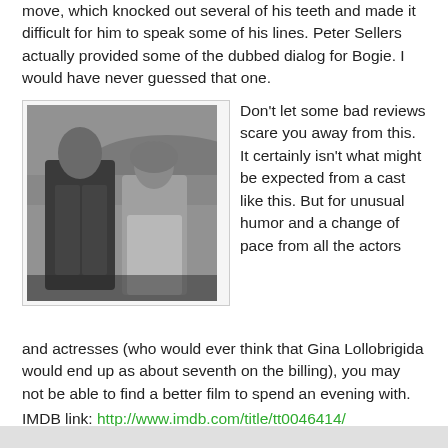move, which knocked out several of his teeth and made it difficult for him to speak some of his lines. Peter Sellers actually provided some of the dubbed dialog for Bogie. I would have never guessed that one.
[Figure (photo): Black and white photograph of a man in a suit and a woman in a headscarf facing each other, with a scenic background.]
Don't let some bad reviews scare you away from this. It certainly isn't what might be expected from a cast like this. But for unusual humor and a change of pace from all the actors and actresses (who would ever think that Gina Lollobrigida would end up as about seventh on the billing), you may not be able to find a better film to spend an evening with.
IMDB link: http://www.imdb.com/title/tt0046414/